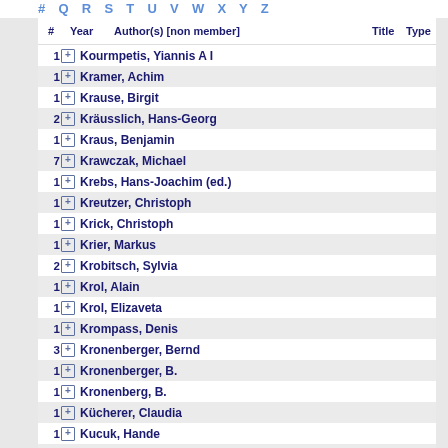# Q R S T U V W X Y Z
| # | Year | Author(s) [non member] | Title | Type |
| --- | --- | --- | --- | --- |
| 1 |  | Kourmpetis, Yiannis A I |  |  |
| 1 |  | Kramer, Achim |  |  |
| 1 |  | Krause, Birgit |  |  |
| 2 |  | Kräusslich, Hans-Georg |  |  |
| 1 |  | Kraus, Benjamin |  |  |
| 7 |  | Krawczak, Michael |  |  |
| 1 |  | Krebs, Hans-Joachim (ed.) |  |  |
| 1 |  | Kreutzer, Christoph |  |  |
| 1 |  | Krick, Christoph |  |  |
| 1 |  | Krier, Markus |  |  |
| 2 |  | Krobitsch, Sylvia |  |  |
| 1 |  | Krol, Alain |  |  |
| 1 |  | Krol, Elizaveta |  |  |
| 1 |  | Krompass, Denis |  |  |
| 3 |  | Kronenberger, Bernd |  |  |
| 1 |  | Kronenberger, B. |  |  |
| 1 |  | Kronenberg, B. |  |  |
| 1 |  | Kücherer, Claudia |  |  |
| 1 |  | Kucuk, Hande |  |  |
| 1 |  | Kuhn Cuellar, Luis Eugenio |  |  |